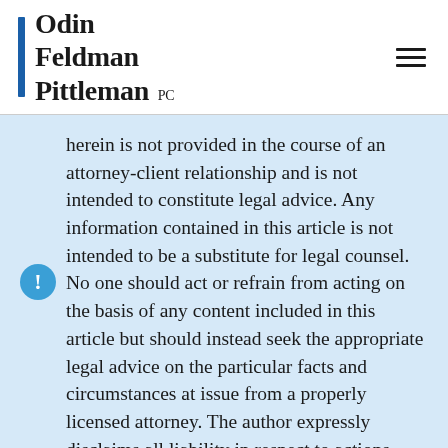Odin Feldman Pittleman PC
herein is not provided in the course of an attorney-client relationship and is not intended to constitute legal advice. Any information contained in this article is not intended to be a substitute for legal counsel. No one should act or refrain from acting on the basis of any content included in this article but should instead seek the appropriate legal advice on the particular facts and circumstances at issue from a properly licensed attorney. The author expressly disclaims all liability in respect to actions